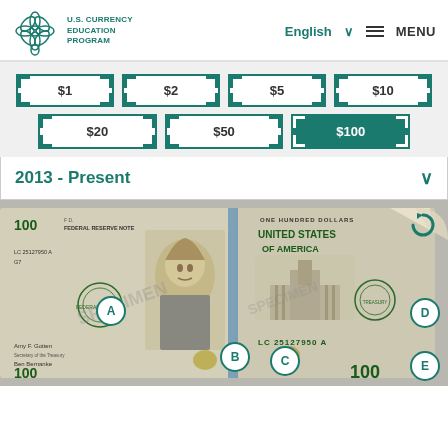[Figure (logo): U.S. Currency Education Program logo — teal flower/geometric emblem with text]
U.S. CURRENCY EDUCATION PROGRAM    English ⌄    ≡ MENU
[Figure (infographic): Currency denomination selector buttons: $1, $2, $5, $10, $20, $50, $100 (active)]
2013 - Present
[Figure (photo): Front and back of the $100 Federal Reserve Note (2013-Present) specimen with labeled feature markers A, B, C, D, E]